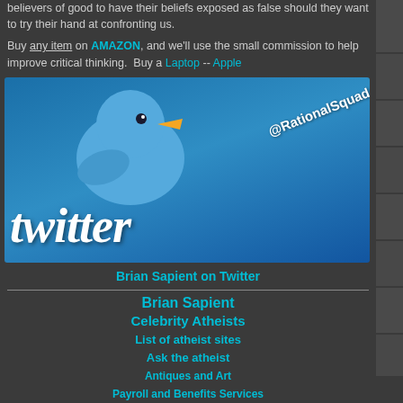believers of good to have their beliefs exposed as false should they want to try their hand at confronting us.
Buy any item on AMAZON, and we'll use the small commission to help improve critical thinking. Buy a Laptop -- Apple
[Figure (screenshot): Twitter promotion image for @RationalSquad showing Twitter bird logo and handle]
Brian Sapient on Twitter
Brian Sapient
Celebrity Atheists
List of atheist sites
Ask the atheist
Antiques and Art
Payroll and Benefits Services
| icon | title | count | info |
| --- | --- | --- | --- |
| [folder] | stickam will consist primarily of ridicule | 0 | 14 yea by Rat |
| [folder] | The RRS and Facebook | 0 | 14 yea by Ipet |
| [folder] | You people will all go to Hell. | 0 | 14 yea by Cyb |
| [folder] | Hovind's ilk (Hey Bub!) | 0 | 14 yea by I Qu |
| [folder] | RRS Interview on Skepticality | 0 | 15 yea by rab |
| [folder] | With all due respect... | 0 | 15 yea by Tra |
| [folder] | Kelly and Sapient having a baby? | 0 | 15 yea by Rat |
| [folder] | 3 x 1 = 1: | 0 | 15 yea |